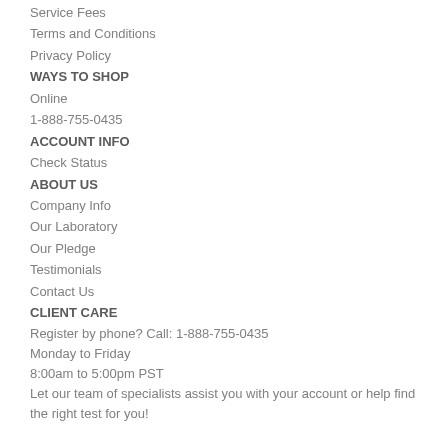Service Fees
Terms and Conditions
Privacy Policy
WAYS TO SHOP
Online
1-888-755-0435
ACCOUNT INFO
Check Status
ABOUT US
Company Info
Our Laboratory
Our Pledge
Testimonials
Contact Us
CLIENT CARE
Register by phone? Call: 1-888-755-0435
Monday to Friday
8:00am to 5:00pm PST
Let our team of specialists assist you with your account or help find the right test for you!

Questions? Send us an email at:
support@internationalpaternity.com
© International Paternity Labs 2022